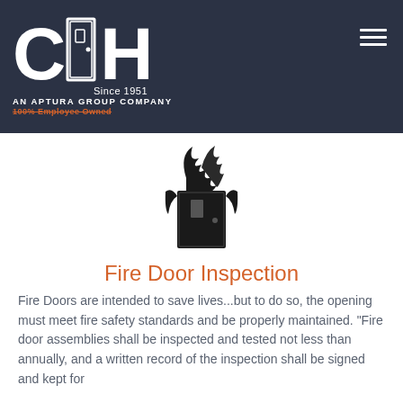[Figure (logo): CH logo with door icon, Since 1951, AN APTURA GROUP COMPANY, 100% Employee Owned on dark navy background]
[Figure (illustration): Black silhouette illustration of a door on fire with flames above it]
Fire Door Inspection
Fire Doors are intended to save lives...but to do so, the opening must meet fire safety standards and be properly maintained. “Fire door assemblies shall be inspected and tested not less than annually, and a written record of the inspection shall be signed and kept for